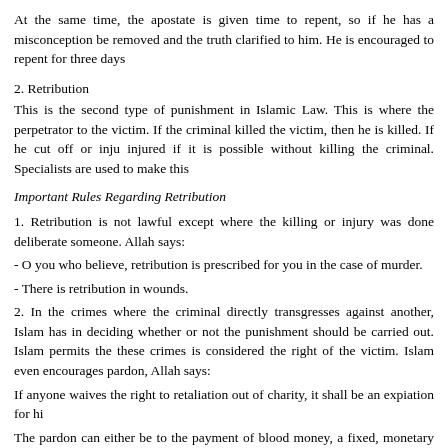At the same time, the apostate is given time to repent, so if he has a misconception be removed and the truth clarified to him. He is encouraged to repent for three days
2. Retribution
This is the second type of punishment in Islamic Law. This is where the perpetrator to the victim. If the criminal killed the victim, then he is killed. If he cut off or inju injured if it is possible without killing the criminal. Specialists are used to make this
Important Rules Regarding Retribution
1. Retribution is not lawful except where the killing or injury was done deliberate someone. Allah says:
- O you who believe, retribution is prescribed for you in the case of murder.
- There is retribution in wounds.
2. In the crimes where the criminal directly transgresses against another, Islam has in deciding whether or not the punishment should be carried out. Islam permits the these crimes is considered the right of the victim. Islam even encourages pardon, Allah says:
If anyone waives the right to retaliation out of charity, it shall be an expiation for hi
The pardon can either be to the payment of blood money, a fixed, monetary comp demanded. Allah says:
To forgive it is closer to piety.
3. The punishment must be carried out by the government. The family of the victim